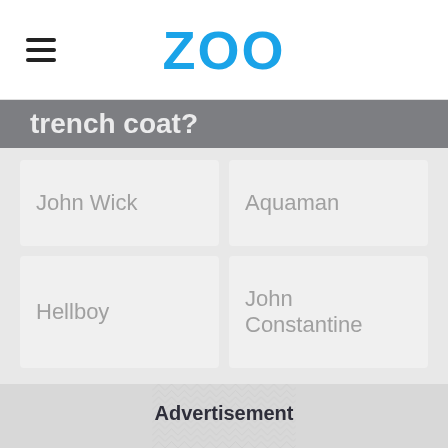ZOO
trench coat?
John Wick
Aquaman
Hellboy
John Constantine
Advertisement